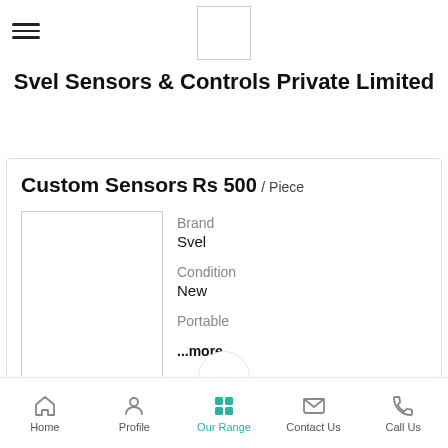[Figure (logo): Company logo placeholder box in top center]
Svel Sensors & Controls Private Limited
Custom Sensors
Rs 500 / Piece
[Figure (photo): Product image placeholder box]
Brand
Svel
Condition
New
Portable
...more
Home  Profile  Our Range  Contact Us  Call Us